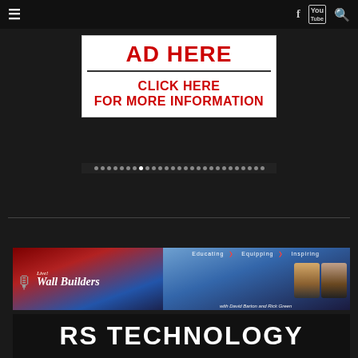≡   f  You  🔍
[Figure (other): Advertisement banner with white background showing 'AD HERE' in large red bold text, a horizontal divider line, and 'CLICK HERE FOR MORE INFORMATION' in red bold text below]
[Figure (other): WallBuilders Live banner with hosts David Barton and Rick Green, tagline 'Educating > Equipping > Inspiring', red and blue design with microphone graphic]
RS TECHNOLOGY